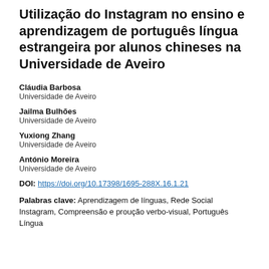Utilização do Instagram no ensino e aprendizagem de português língua estrangeira por alunos chineses na Universidade de Aveiro
Cláudia Barbosa
Universidade de Aveiro
Jailma Bulhões
Universidade de Aveiro
Yuxiong Zhang
Universidade de Aveiro
António Moreira
Universidade de Aveiro
DOI: https://doi.org/10.17398/1695-288X.16.1.21
Palabras clave: Aprendizagem de línguas, Rede Social Instagram, Compreensão e proução verbo-visual, Português Língua